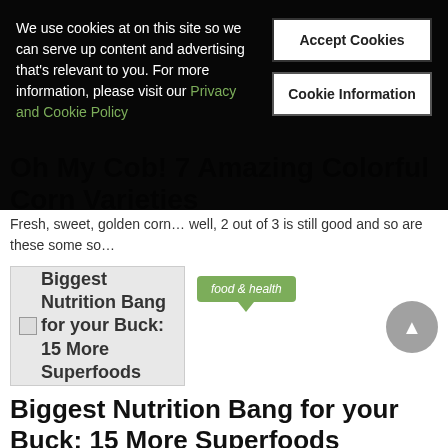We use cookies at on this site so we can serve up content and advertising that's relevant to you. For more information, please visit our Privacy and Cookie Policy
Accept Cookies
Cookie Information
Oh My Cob! 7 Amazing Colorful Corn Varieties
Fresh, sweet, golden corn… well, 2 out of 3 is still good and so are these some so…
[Figure (photo): Thumbnail image placeholder: Biggest Nutrition Bang for your Buck: 15 More Superfoods]
food & health
Biggest Nutrition Bang for your Buck: 15 More Superfoods
A new study has named the top 41 "powerhouse fruits and vegetables" that are critical for…
[Figure (photo): Thumbnail image placeholder: Eating Green: 12 Totally]
food & health